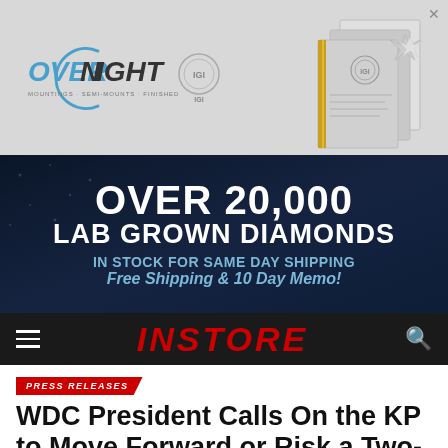[Figure (photo): Advertisement banner for Overnight Mountings with IGI logo and diamond jewelry products on grey background]
[Figure (infographic): Dark blue advertisement banner reading: OVER 20,000 LAB GROWN DIAMONDS IN STOCK FOR SAME DAY SHIPPING Free Shipping & 10 Day Memo!]
[Figure (screenshot): INSTORE magazine navigation bar with hamburger menu, red italic INSTORE logo, and search icon on black background]
PRESS RELEASES
WDC President Calls On the KP to Move Forward or Risk a Two-Tier